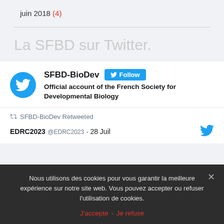juin 2018 (4)
La SFBD sur Twitter.
[Figure (screenshot): Twitter widget showing SFBD-BioDev account with Follow button and bio: Official account of the French Society for Developmental Biology]
↺ SFBD-BioDev Retweeted
EDRC2023 @EDRC2023 · 28 Juil
Nous utilisons des cookies pour vous garantir la meilleure expérience sur notre site web. Vous pouvez accepter ou refuser l'utilisation de cookies.
J'accepte  Je refuse